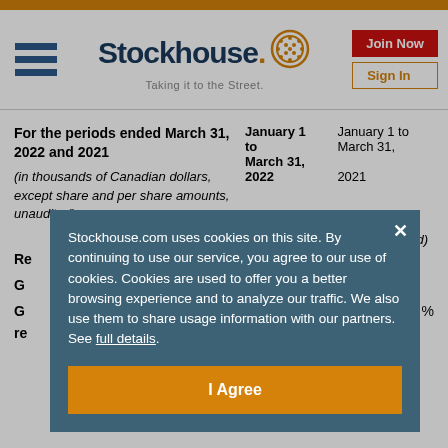[Figure (logo): Stockhouse logo with hamburger menu, brand name 'Stockhouse. Taking it to the Street.' and auth buttons 'Join Now' and 'Sign In']
| For the periods ended March 31, 2022 and 2021 (in thousands of Canadian dollars, except share and per share amounts, unaudited) | January 1 to March 31, 2022 | January 1 to March 31, 2021 |
| --- | --- | --- |
| (Restated) |  |  |
| Re... |  |  |
| G... |  |  |
| G... re... |  | % |
Stockhouse.com uses cookies on this site. By continuing to use our service, you agree to our use of cookies. Cookies are used to offer you a better browsing experience and to analyze our traffic. We also use them to share usage information with our partners. See full details.